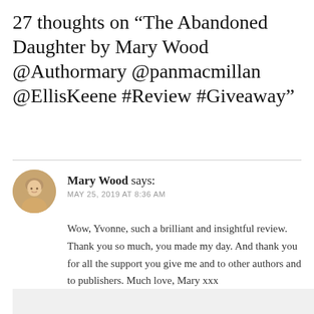27 thoughts on “The Abandoned Daughter by Mary Wood @Authormary @panmacmillan @EllisKeene #Review #Giveaway”
Mary Wood says:
MAY 25, 2019 AT 8:36 AM

Wow, Yvonne, such a brilliant and insightful review. Thank you so much, you made my day. And thank you for all the support you give me and to other authors and to publishers. Much love, Mary xxx
★ Liked by 1 person